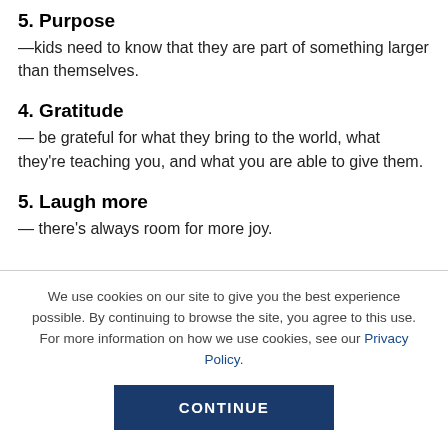5. Purpose
—kids need to know that they are part of something larger than themselves.
4. Gratitude
— be grateful for what they bring to the world, what they're teaching you, and what you are able to give them.
5. Laugh more
— there's always room for more joy.
We use cookies on our site to give you the best experience possible. By continuing to browse the site, you agree to this use. For more information on how we use cookies, see our Privacy Policy.